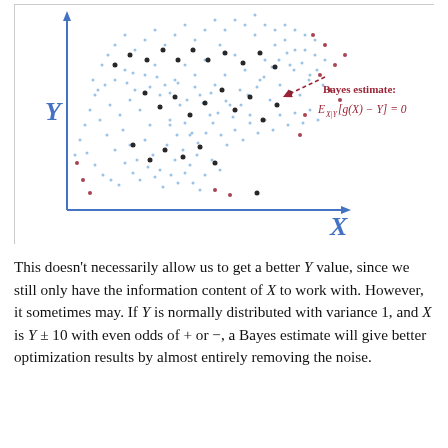[Figure (continuous-plot): Scatter plot with blue X-Y axes. Dense cloud of blue dots with a roughly elliptical distribution. Black dots scattered among them representing selected/special points. A few dark red/maroon dots scattered at the edges. A dashed dark red arrow points from the right side of the cloud toward an annotation. Annotation in dark red reads 'Bayes estimate:' and below it the formula E_{X|Y}[g(X) - Y] = 0. Axes labeled Y (vertical, blue) and X (horizontal, blue).]
This doesn't necessarily allow us to get a better Y value, since we still only have the information content of X to work with. However, it sometimes may. If Y is normally distributed with variance 1, and X is Y ± 10 with even odds of + or −, a Bayes estimate will give better optimization results by almost entirely removing the noise.